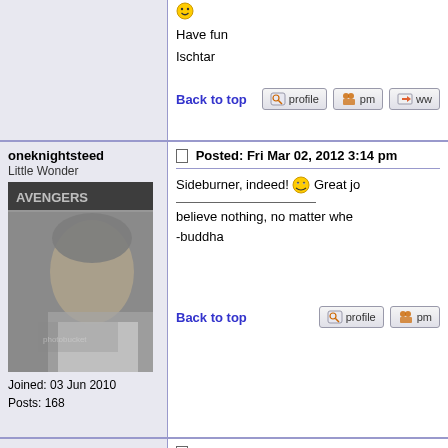Have fun
Ischtar
Back to top
oneknightsteed
Little Wonder
Joined: 03 Jun 2010
Posts: 168
[Figure (photo): Black and white photo of a man, avatar for user oneknightsteed]
Back to top
Posted: Fri Mar 02, 2012 3:14 pm
Sideburner, indeed! Great jo
believe nothing, no matter whe
-buddha
ischtar
Winged Avenger
Joined: 06 Jun 2010
Posts: 678
Posted: Sat Mar 03, 2012 11:59 an
oneknightsteed wrote: